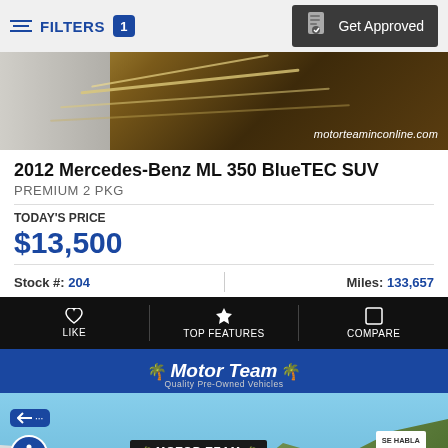FILTERS 1  Get Approved
[Figure (photo): Partial car interior/exterior image showing brown/gold decorative panel with motorteaminconline.com watermark]
2012 Mercedes-Benz ML 350 BlueTEC SUV
PREMIUM 2 PKG
TODAY'S PRICE
$13,500
Stock #: 204   Miles: 133,657
LIKE  TOP FEATURES  COMPARE
[Figure (photo): Motor Team dealership exterior photo with blue banner logo, palm trees decoration, Motor Team signboard with phone 510-881-5527, SE HABLA ESPAÑOL sign, hills in background]